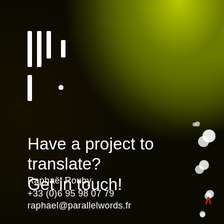[Figure (illustration): Dark night background with yellow-green illuminated tree foliage in upper right, bokeh light effects on right side, and abstract logo marks (vertical bars and dot) in white on left]
Have a project to translate?
Get in touch!
Raphaël Rouby
+33 (0)6 95 98 07 79
raphael@parallelwords.fr